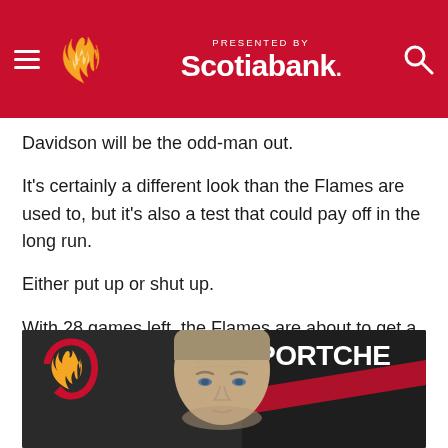PRESENTED BY Scotiabank. [Calgary Flames website header]
Davidson will be the odd-man out.
It's certainly a different look than the Flames are used to, but it's also a test that could pay off in the long run.
Either put up or shut up.
With 28 games left, the Flames are about to get a real good look at what their team is made of.
[Figure (photo): Close-up photo of a man (hockey coach or executive) in front of Calgary Flames logo and SportCheck banner background]